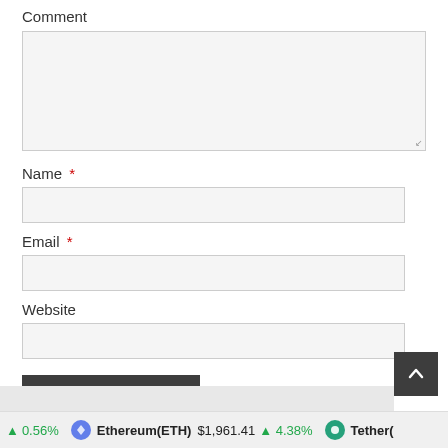Comment
Name *
Email *
Website
POST COMMENT
Ethereum(ETH) $1,961.41 ↑ 4.38% Tether(